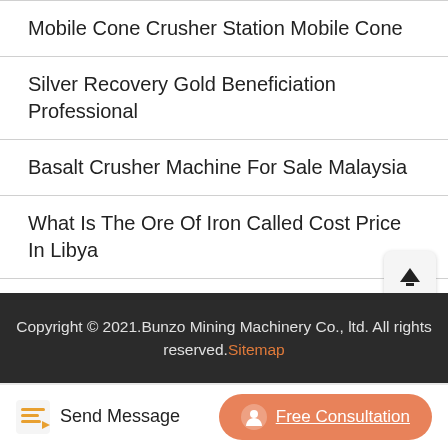Mobile Cone Crusher Station Mobile Cone
Silver Recovery Gold Beneficiation Professional
Basalt Crusher Machine For Sale Malaysia
What Is The Ore Of Iron Called Cost Price In Libya
Pyrite Parts Replacement
Previous Studies On Factors Affecting Production Of Stone Crusher
Copyright © 2021.Bunzo Mining Machinery Co., ltd. All rights reserved.Sitemap
Send Message
Free Consultation